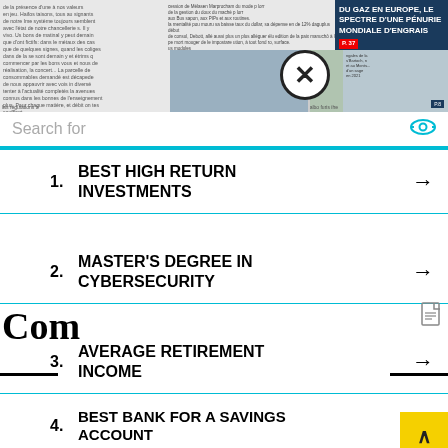[Figure (screenshot): Newspaper background with French text columns, photos of officials, and a dark blue headline box reading 'DU GAZ EN EUROPE, LE SPECTRE D’UNE PÉNURIE MONDIALE D’ENGRAIS']
Search for
1. BEST HIGH RETURN INVESTMENTS
2. MASTER'S DEGREE IN CYBERSECURITY
3. AVERAGE RETIREMENT INCOME
4. BEST BANK FOR A SAVINGS ACCOUNT
5. AFFORDABLE PLACES TO RETIRE